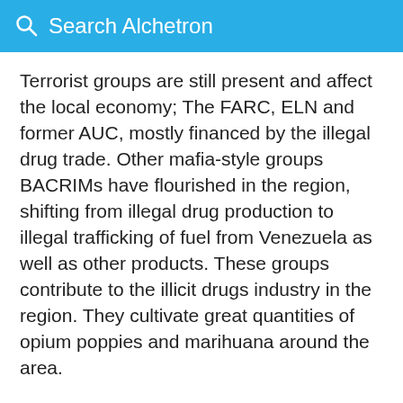Search Alchetron
Terrorist groups are still present and affect the local economy; The FARC, ELN and former AUC, mostly financed by the illegal drug trade. Other mafia-style groups BACRIMs have flourished in the region, shifting from illegal drug production to illegal trafficking of fuel from Venezuela as well as other products. These groups contribute to the illicit drugs industry in the region. They cultivate great quantities of opium poppies and marihuana around the area.
The region is using technology in order to develop into a soure ation
[Figure (screenshot): Victoria's Secret advertisement banner with model photo, VS logo, 'SHOP THE COLLECTION' text, 'SHOP NOW' button, and a red tab partially visible on the right side. A close (X) button appears above the banner.]